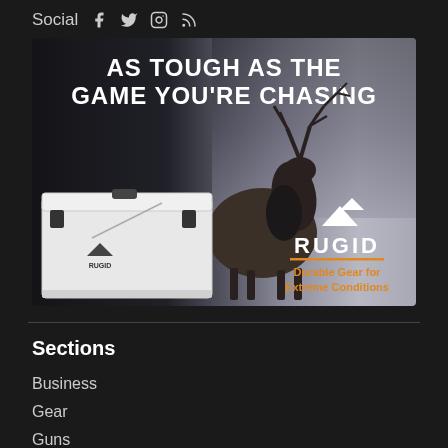Social
[Figure (illustration): RUGID advertisement showing an elk and white cooler. Headline: AS TOUGH AS THE GAME YOU'RE CHASING. Logo: RUGID. Tagline: Durable Gear for Extreme Conditions.]
Sections
Business
Gear
Guns
Handguns